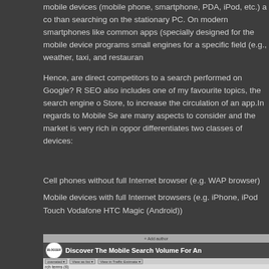mobile devices (mobile phone, smartphone, PDA, iPod, etc.) a co than searching on the stationary PC. On modern smartphones like common apps (specially designed for the mobile device programs small engines for a specific field (e.g., weather, taxi, and restauran
Hence, are direct competitors to a search performed on Google? SEO also includes one of my favourite topics, the search engine o Store, to increase the circulation of an app.In regards to Mobile Se are many aspects to consider and the market is very rich in oppor differentiates two classes of devices:
Cell phones without full Internet browser (e.g. WAP browser)
Mobile devices with full Internet browsers (e.g. iPhone, iPod Touch Vodafone HTC Magic (Android))
[Figure (screenshot): Screenshot of a Google Keyword Tool showing 'Discover The Mobile Search Volume For An...' with a table showing Competition, Global Monthly Searches, Local Monthly Searches, Google Search Network, Approximate CPC columns. Rows show: High / 33,100 / 27,100 / - and High / 18,100 / 18,100 (with red highlight)]